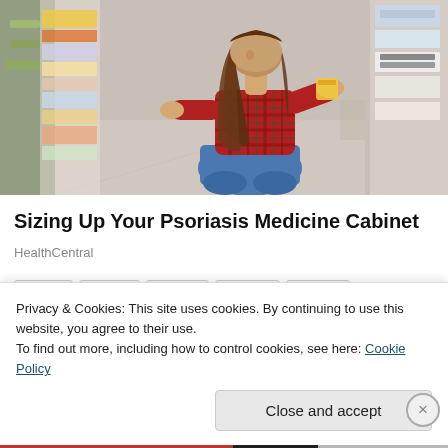[Figure (photo): Woman in red plaid shirt crouching in a store aisle, reading the label on a product from a shelf stocked with various items.]
Sizing Up Your Psoriasis Medicine Cabinet
HealthCentral
Privacy & Cookies: This site uses cookies. By continuing to use this website, you agree to their use.
To find out more, including how to control cookies, see here: Cookie Policy
Close and accept